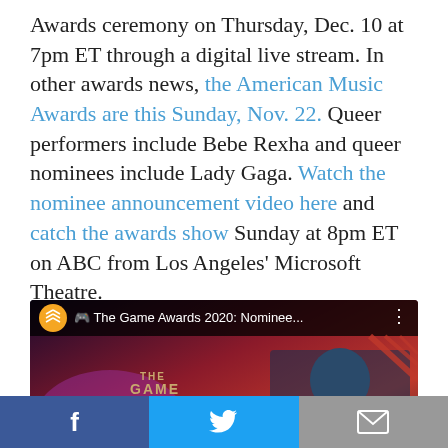Awards ceremony on Thursday, Dec. 10 at 7pm ET through a digital live stream. In other awards news, the American Music Awards are this Sunday, Nov. 22. Queer performers include Bebe Rexha and queer nominees include Lady Gaga. Watch the nominee announcement video here and catch the awards show Sunday at 8pm ET on ABC from Los Angeles' Microsoft Theatre.
[Figure (screenshot): YouTube video thumbnail for 'The Game Awards 2020: Nominee...' showing The Game Awards logo on the left and a person in a dark suit on the right against a red/purple background, with a red YouTube play button in the center]
[Figure (other): Social sharing bar with three buttons: Facebook (blue), Twitter (light blue), and Email (gray)]